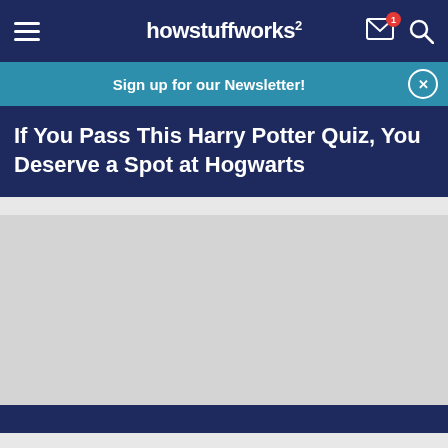howstuffworks
Sign up for our Newsletter!
If You Pass This Harry Potter Quiz, You Deserve a Spot at Hogwarts
[Figure (photo): Gray placeholder image for article content]